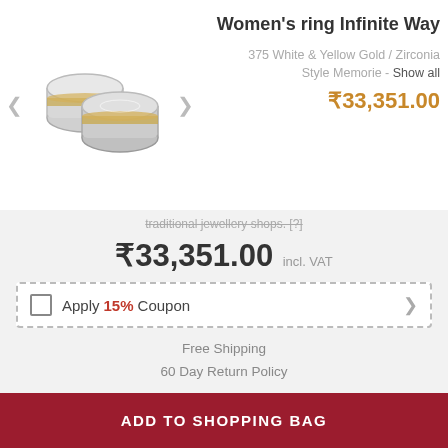[Figure (photo): Two gold and white wedding rings side by side]
Women's ring Infinite Way
375 White & Yellow Gold / Zirconia
Style Memorie - Show all
₹33,351.00
traditional jewellery shops. [?]
₹33,351.00 incl. VAT
Apply 15% Coupon
Free Shipping
60 Day Return Policy
Estimated delivery time: Tuesday, 13 Sep
View Delivery Options
Select an Extended Protection Plan
ADD TO SHOPPING BAG